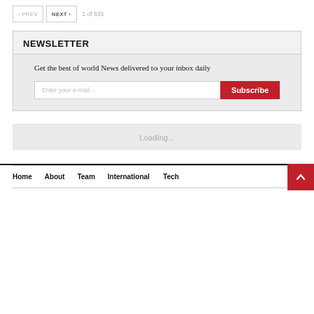‹ PREV   NEXT ›   1 of 633
NEWSLETTER
Get the best of world News delivered to your inbox daily
Enter your e-mail ..   Subscribe
Loading...
Home   About   Team   International   Tech